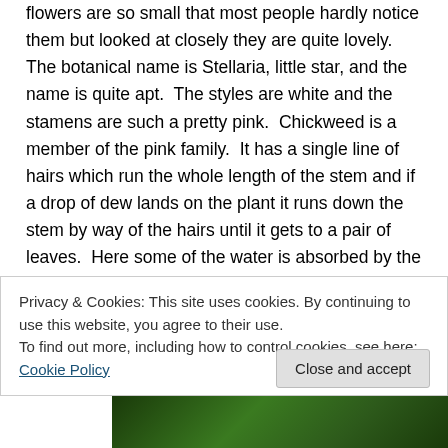flowers are so small that most people hardly notice them but looked at closely they are quite lovely.  The botanical name is Stellaria, little star, and the name is quite apt.  The styles are white and the stamens are such a pretty pink.  Chickweed is a member of the pink family.  It has a single line of hairs which run the whole length of the stem and if a drop of dew lands on the plant it runs down the stem by way of the hairs until it gets to a pair of leaves.  Here some of the water is absorbed by the hairs and the rest carries on down the stem to the next pair of leaves and so on.  This water is reserved in the plant in case of drought.  It flowers
Privacy & Cookies: This site uses cookies. By continuing to use this website, you agree to their use.
To find out more, including how to control cookies, see here: Cookie Policy
Close and accept
[Figure (photo): Dark green plant photograph strip visible at the bottom of the page]